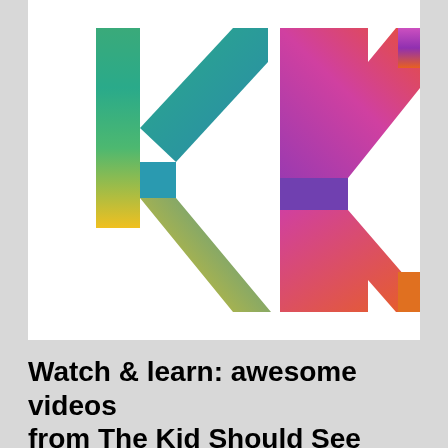[Figure (logo): Colorful geometric K logo — two K letterforms made of thick outline strokes with rainbow gradients. Left K: yellow-green-teal-blue gradient. Right K: pink-purple-blue and pink-orange gradient. Both on white background.]
Watch & learn: awesome videos from The Kid Should See This